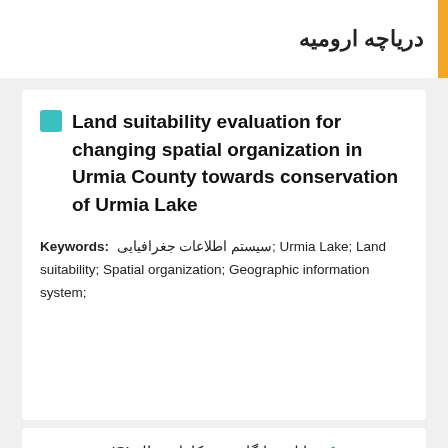دریاچه ارومیه
Land suitability evaluation for changing spatial organization in Urmia County towards conservation of Urmia Lake
Keywords: سیستم اطلاعات جغرافیایی; Urmia Lake; Land suitability; Spatial organization; Geographic information system;
دانلود رایگان متن کامل مقاله ISI
12 صفحه
سال انتشار : 2017